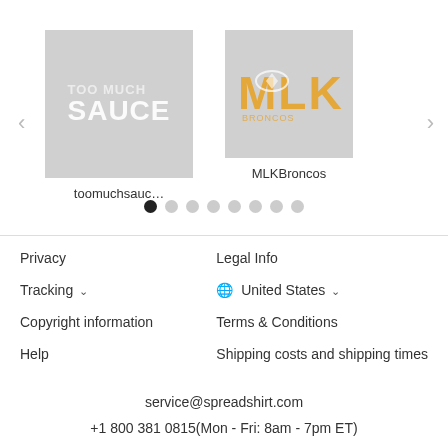[Figure (screenshot): Carousel showing two product images: toomuchsauc... and MLKBroncos with navigation arrows and dot indicators]
Privacy
Legal Info
Tracking ∨
🌐 United States ∨
Copyright information
Terms & Conditions
Help
Shipping costs and shipping times
service@spreadshirt.com
+1 800 381 0815(Mon - Fri: 8am - 7pm ET)